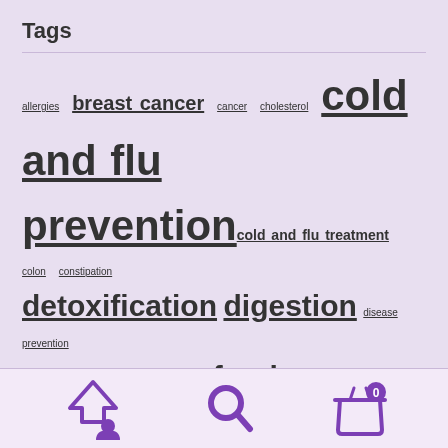Tags
allergies breast cancer cancer cholesterol cold and flu prevention cold and flu treatment colon constipation detoxification digestion disease prevention drinking water flu shots food safety global climate change GMO food GMO hazards to health GMO labeling GMO political action GMO wheat hay fever health risks of GMO food healthy diet healthy protein
[Figure (infographic): Bottom navigation bar with three icons: up arrow with person (purple), search magnifying glass (purple), shopping basket with 0 badge (purple)]